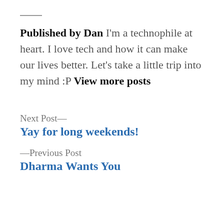Published by Dan I'm a technophile at heart. I love tech and how it can make our lives better. Let's take a little trip into my mind :P View more posts
Next Post—
Yay for long weekends!
—Previous Post
Dharma Wants You